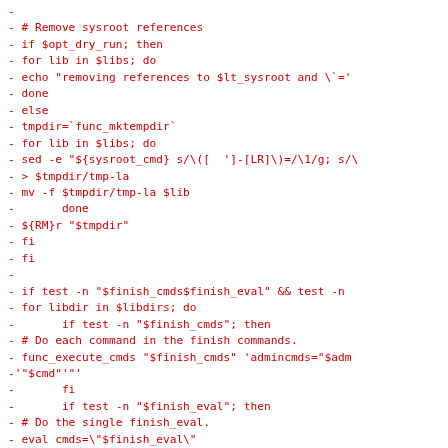- 
- # Remove sysroot references
- if $opt_dry_run; then
- for lib in $libs; do
- echo "removing references to $lt_sysroot and \`='
- done
- else
- tmpdir=`func_mktempdir`
- for lib in $libs; do
- sed -e "${sysroot_cmd} s/\([  ']-[LR]\)=/\1/g; s/\
- > $tmpdir/tmp-la
- mv -f $tmpdir/tmp-la $lib
-       done
- ${RM}r "$tmpdir"
- fi
- fi
-
- if test -n "$finish_cmds$finish_eval" && test -n
- for libdir in $libdirs; do
-       if test -n "$finish_cmds"; then
- # Do each command in the finish commands.
- func_execute_cmds "$finish_cmds" 'admincmds="$adm
-'"$cmd"'"'
-       fi
-       if test -n "$finish_eval"; then
- # Do the single finish_eval.
- eval cmds=\"$finish_eval\"
- $opt_dry_run || eval "$cmds" || func_append admin
- $cmds"
-       fi
-